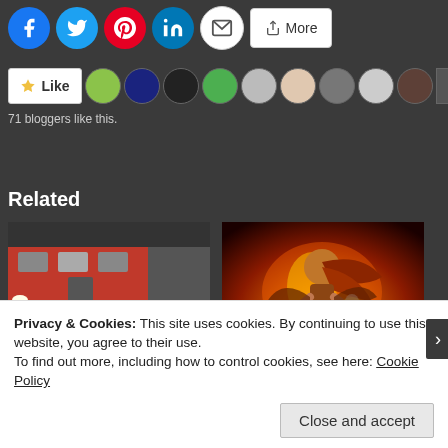[Figure (screenshot): Social sharing buttons: Facebook, Twitter, Pinterest, LinkedIn, Email, More]
[Figure (screenshot): Like button with 71 blogger avatars below it. Text: 71 bloggers like this.]
Related
[Figure (photo): Photo of a train at a station platform with two people]
[Figure (illustration): Fantasy illustration of a fire-wielding female character with red hair]
Wait for me
Fire
Privacy & Cookies: This site uses cookies. By continuing to use this website, you agree to their use.
To find out more, including how to control cookies, see here: Cookie Policy
Close and accept